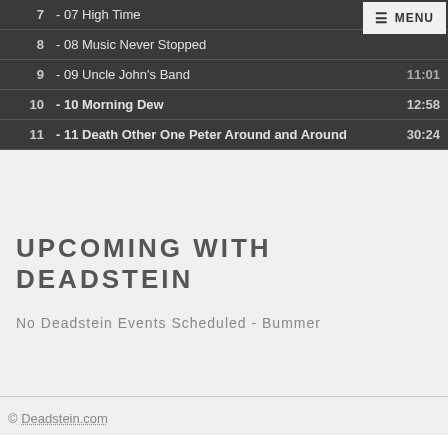| # | Title | Duration |
| --- | --- | --- |
| 7 | - 07 High Time | 08:18 |
| 8 | - 08 Music Never Stopped |  |
| 9 | - 09 Uncle John's Band | 11:01 |
| 10 | - 10 Morning Dew | 12:58 |
| 11 | - 11 Death Other One Peter Around and Around | 30:24 |
UPCOMING WITH DEADSTEIN
No Deadstein Events Scheduled - Bummer
© Deadstein.com